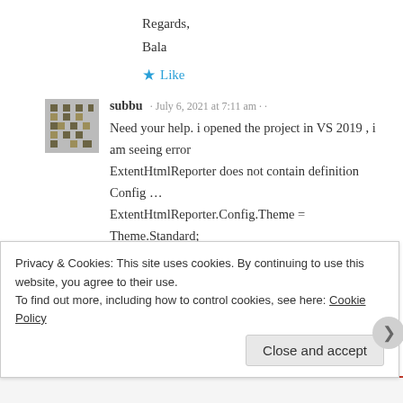Regards,
Bala
★ Like
subbu · July 6, 2021 at 7:11 am ··
Need your help. i opened the project in VS 2019 , i am seeing error
ExtentHtmlReporter does not contain definition
Config …
ExtentHtmlReporter.Config.Theme =
Theme.Standard;
★ Like
Privacy & Cookies: This site uses cookies. By continuing to use this website, you agree to their use.
To find out more, including how to control cookies, see here: Cookie Policy
Close and accept